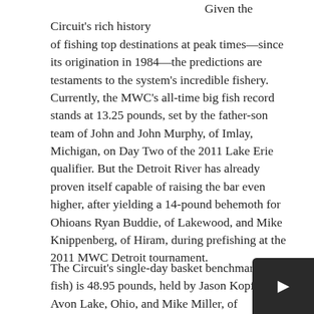Given the Circuit's rich history of fishing top destinations at peak times—since its origination in 1984—the predictions are testaments to the system's incredible fishery. Currently, the MWC's all-time big fish record stands at 13.25 pounds, set by the father-son team of John and John Murphy, of Imlay, Michigan, on Day Two of the 2011 Lake Erie qualifier. But the Detroit River has already proven itself capable of raising the bar even higher, after yielding a 14-pound behemoth for Ohioans Ryan Buddie, of Lakewood, and Mike Knippenberg, of Hiram, during prefishing at the 2011 MWC Detroit tournament.
The Circuit's single-day basket benchmark (five fish) is 48.95 pounds, held by Jason Kopf, of Avon Lake, Ohio, and Mike Miller, of Brunswick, Ohio. The two-day (10 fish) basket record is 86.38 pounds, claimed by Den Lantzy, of Warren, Michigan, and Steve Vande Mark, of